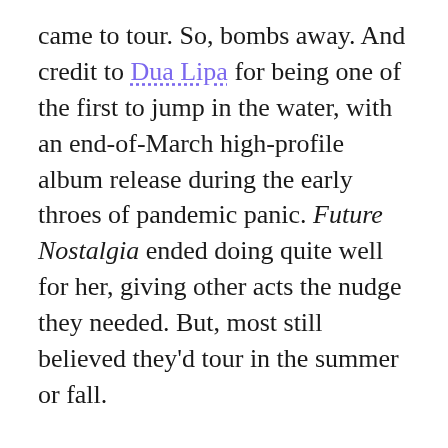came to tour. So, bombs away. And credit to Dua Lipa for being one of the first to jump in the water, with an end-of-March high-profile album release during the early throes of pandemic panic. Future Nostalgia ended doing quite well for her, giving other acts the nudge they needed. But, most still believed they'd tour in the summer or fall.

2020's uncertainty is giving way to 2021's certainty. That certainty is that there likely won't be any major tours for